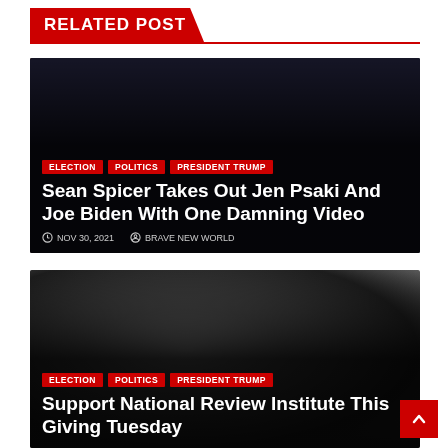RELATED POST
[Figure (photo): News article thumbnail showing Jen Psaki, Sean Spicer, and Joe Biden]
Sean Spicer Takes Out Jen Psaki And Joe Biden With One Damning Video
NOV 30, 2021  BRAVE NEW WORLD
[Figure (photo): Black and white photo of a man looking downward]
Support National Review Institute This Giving Tuesday